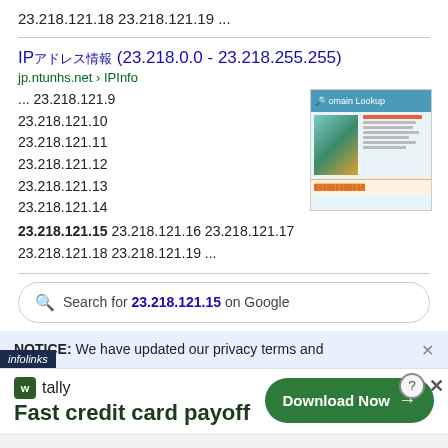23.218.121.18 23.218.121.19 ...
IPアドレス情報 (23.218.0.0 - 23.218.255.255)
jp.ntunhs.net › IPInfo
... 23.218.121.9
23.218.121.10
23.218.121.11
23.218.121.12
23.218.121.13
23.218.121.14
23.218.121.15 23.218.121.16 23.218.121.17 23.218.121.18 23.218.121.19 ...
[Figure (screenshot): Thumbnail screenshot of a domain lookup page showing a landscape photo and text content]
Search for 23.218.121.15 on Google
NOTICE: We have updated our privacy terms and
[Figure (infographic): Advertisement for Tally app - Fast credit card payoff with Download Now button]